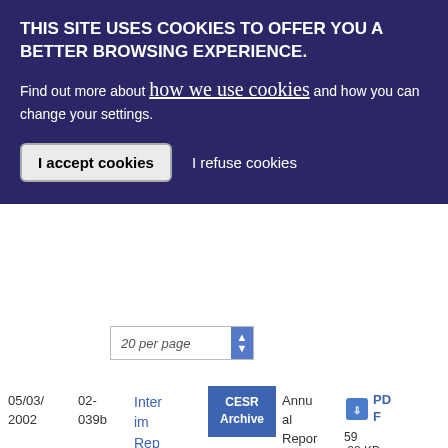THIS SITE USES COOKIES TO OFFER YOU A BETTER BROWSING EXPERIENCE.
Find out more about how we use cookies and how you can change your settings.
I accept cookies
I refuse cookies
20 per page
| Date | Ref | Title | Source | Type | File |
| --- | --- | --- | --- | --- | --- |
| 05/03/
2002 | 02-039b | Interim Report on the Activities of CES | CESR Archive | Annual Report | PDF 59.08 KB |